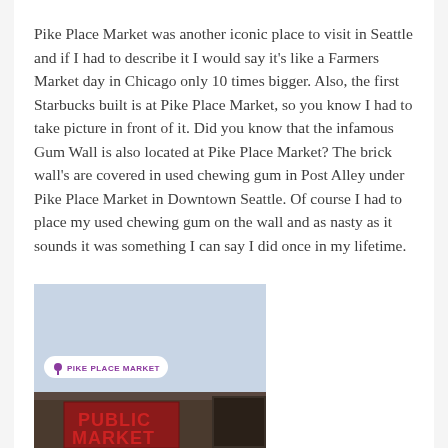Pike Place Market was another iconic place to visit in Seattle and if I had to describe it I would say it's like a Farmers Market day in Chicago only 10 times bigger. Also, the first Starbucks built is at Pike Place Market, so you know I had to take picture in front of it. Did you know that the infamous Gum Wall is also located at Pike Place Market? The brick wall's are covered in used chewing gum in Post Alley under Pike Place Market in Downtown Seattle. Of course I had to place my used chewing gum on the wall and as nasty as it sounds it was something I can say I did once in my lifetime.
[Figure (photo): Photo of Pike Place Market exterior with a blue-gray sky background. A white rounded-rectangle location tag reading '@ PIKE PLACE MARKET' is overlaid on the image. The bottom portion shows the dark brick building facade with the PUBLIC MARKET sign visible.]